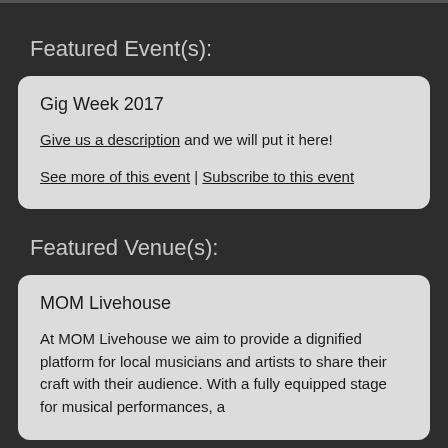Featured Event(s):
Gig Week 2017
Give us a description and we will put it here!
See more of this event | Subscribe to this event
Featured Venue(s):
MOM Livehouse
At MOM Livehouse we aim to provide a dignified platform for local musicians and artists to share their craft with their audience. With a fully equipped stage for musical performances, a